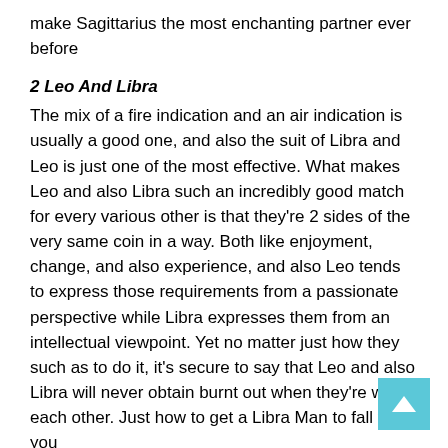make Sagittarius the most enchanting partner ever before
2 Leo And Libra
The mix of a fire indication and an air indication is usually a good one, and also the suit of Libra and Leo is just one of the most effective. What makes Leo and also Libra such an incredibly good match for every various other is that they're 2 sides of the very same coin in a way. Both like enjoyment, change, and also experience, and also Leo tends to express those requirements from a passionate perspective while Libra expresses them from an intellectual viewpoint. Yet no matter just how they such as to do it, it's secure to say that Leo and also Libra will never obtain burnt out when they're with each other. Just how to get a Libra Man to fall for you
1 Capricorn And Also Virgo
Both Virgos and also Capricorns tend to be type-A